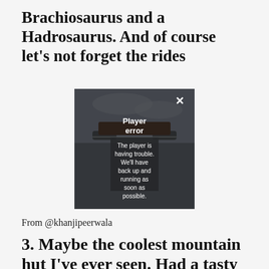Brachiosaurus and a Hadrosaurus. And of course let's not forget the rides
[Figure (screenshot): A video player error overlay showing a person holding something above their head in a cloudy outdoor setting. The overlay reads: Player error. The player is having trouble. We'll have back up and running as soon as possible. A white X close button appears in the top right corner.]
From @khanjipeerwala
3. Maybe the coolest mountain hut I've ever seen. Had a tasty round of